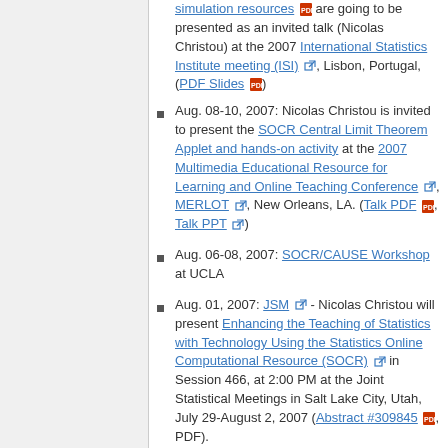simulation resources [pdf] are going to be presented as an invited talk (Nicolas Christou) at the 2007 International Statistics Institute meeting (ISI) [ext], Lisbon, Portugal, (PDF Slides [pdf])
Aug. 08-10, 2007: Nicolas Christou is invited to present the SOCR Central Limit Theorem Applet and hands-on activity at the 2007 Multimedia Educational Resource for Learning and Online Teaching Conference [ext], MERLOT [ext], New Orleans, LA. (Talk PDF [pdf], Talk PPT [ext])
Aug. 06-08, 2007: SOCR/CAUSE Workshop at UCLA
Aug. 01, 2007: JSM [ext] - Nicolas Christou will present Enhancing the Teaching of Statistics with Technology Using the Statistics Online Computational Resource (SOCR) [ext] in Session 466, at 2:00 PM at the Joint Statistical Meetings in Salt Lake City, Utah, July 29-August 2, 2007 (Abstract #309845 [pdf], PDF).
June 01 and June 08, 2007 (4PM): The State of the Statistics Online Computational